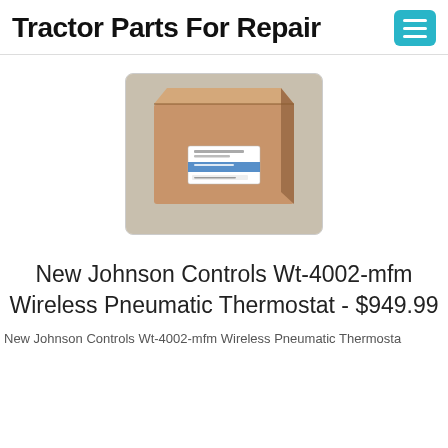Tractor Parts For Repair
[Figure (photo): A sealed cardboard box with a blue and white label on the front, sitting on a light-colored surface. The box appears to contain the Johnson Controls Wt-4002-mfm Wireless Pneumatic Thermostat.]
New Johnson Controls Wt-4002-mfm Wireless Pneumatic Thermostat - $949.99
New Johnson Controls Wt-4002-mfm Wireless Pneumatic Thermosta